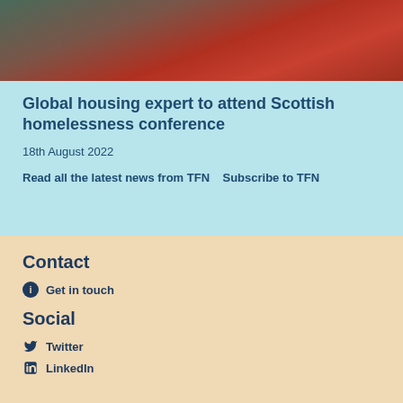[Figure (photo): Photograph of a person wearing a red garment, cropped at top]
Global housing expert to attend Scottish homelessness conference
18th August 2022
Read all the latest news from TFN   Subscribe to TFN
Contact
Get in touch
Social
Twitter
LinkedIn